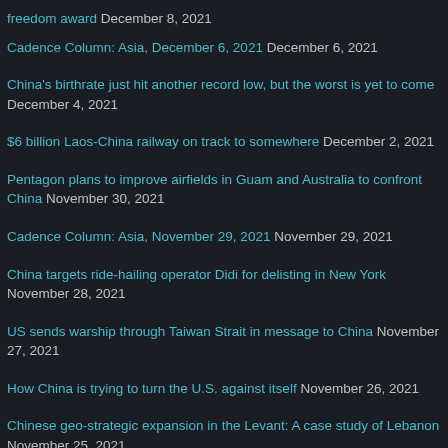freedom award December 8, 2021
Cadence Column: Asia, December 6, 2021 December 6, 2021
China's birthrate just hit another record low, but the worst is yet to come December 4, 2021
$6 billion Laos-China railway on track to somewhere December 2, 2021
Pentagon plans to improve airfields in Guam and Australia to confront China November 30, 2021
Cadence Column: Asia, November 29, 2021 November 29, 2021
China targets ride-hailing operator Didi for delisting in New York November 28, 2021
US sends warship through Taiwan Strait in message to China November 27, 2021
How China is trying to turn the U.S. against itself November 26, 2021
Chinese geo-strategic expansion in the Levant: A case study of Lebanon November 25, 2021
The Chinese Communist Party still thinks it owns the future November 24, 2021
Chinese maritime militia threatens order in South China